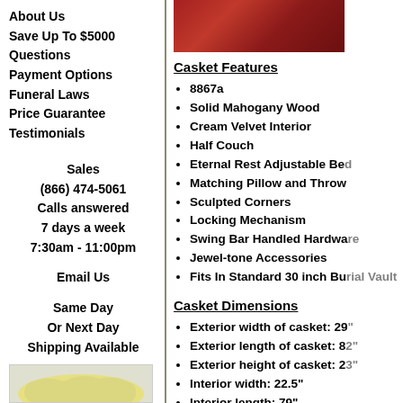[Figure (photo): Red mahogany casket photo, top view showing glossy dark red finish]
About Us
Save Up To $5000
Questions
Payment Options
Funeral Laws
Price Guarantee
Testimonials
Sales
(866) 474-5061
Calls answered
7 days a week
7:30am - 11:00pm
Email Us
Same Day
Or Next Day
Shipping Available
[Figure (map): Map of the United States with yellow highlight]
Casket Features
8867a
Solid Mahogany Wood
Cream Velvet Interior
Half Couch
Eternal Rest Adjustable Bed
Matching Pillow and Throw
Sculpted Corners
Locking Mechanism
Swing Bar Handled Hardware
Jewel-tone Accessories
Fits In Standard 30 inch Burial Vault
Casket Dimensions
Exterior width of casket: 29"
Exterior length of casket: 82"
Exterior height of casket: 23"
Interior width: 22.5"
Interior length: 79"
Actual Weight: 240 pounds